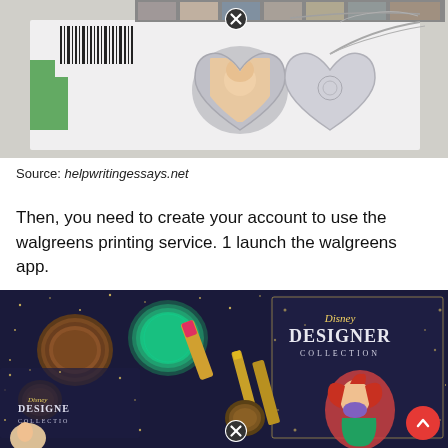[Figure (photo): Photo of an open silver heart-shaped locket necklace on a white surface with printed photos and a barcode visible in the background. A close/delete icon (circled X) overlays the top center.]
Source: helpwritingessays.net
Then, you need to create your account to use the walgreens printing service. 1 launch the walgreens app.
[Figure (photo): Photo of Disney Designer Collection makeup products including eyeshadow compacts (teal and brown), a pink lipstick, gold lip liner, and packaging featuring Ariel from The Little Mermaid on a dark navy starry background. A close/delete icon (circled X) overlays the bottom center, and a red scroll-up button is visible at bottom right.]